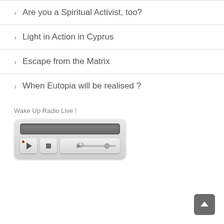Are you a Spiritual Activist, too?
Light in Action in Cyprus
Escape from the Matrix
When Eutopia will be realised ?
Wake Up Radio Live !
[Figure (other): Audio media player widget with a dark display screen, play button, stop button, and volume slider on a gray rounded rectangle background]
[Figure (other): Back to top button: dark gray rounded square with white upward arrow]